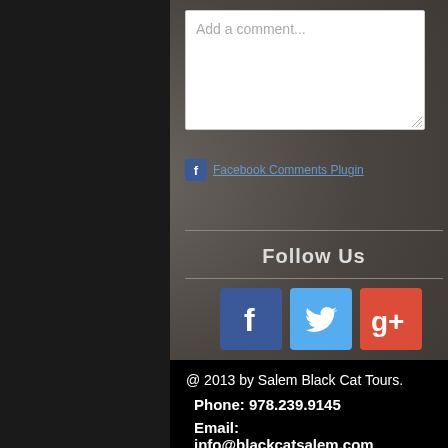[Figure (screenshot): Comment text input box with placeholder text 'Add a comment...' on a dark stone-textured background]
Facebook Comments Plugin
Follow Us
[Figure (infographic): Three social media icons: Facebook (blue), Twitter (light blue), Google+ (red)]
@ 2013 by Salem Black Cat Tours. Phone: 978.239.9145 Email: info@blackcatsalem.com
[Figure (infographic): Three white social media icons on black background: Twitter bird, Facebook f, Google+ g+]